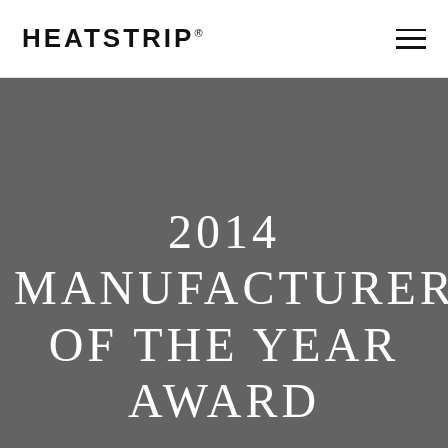HEATSTRIP®
2014 MANUFACTURER OF THE YEAR AWARD